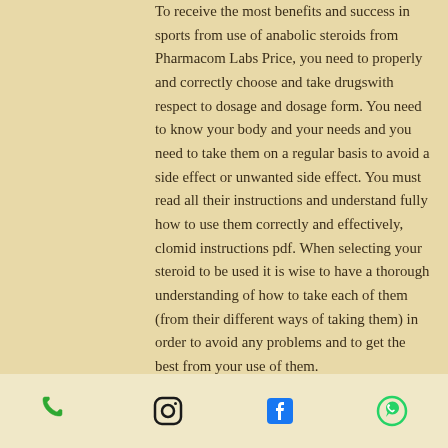To receive the most benefits and success in sports from use of anabolic steroids from Pharmacom Labs Price, you need to properly and correctly choose and take drugswith respect to dosage and dosage form. You need to know your body and your needs and you need to take them on a regular basis to avoid a side effect or unwanted side effect. You must read all their instructions and understand fully how to use them correctly and effectively, clomid instructions pdf. When selecting your steroid to be used it is wise to have a thorough understanding of how to take each of them (from their different ways of taking them) in order to avoid any problems and to get the best from your use of them.
The main advantages to taking a steroid are:
[Figure (other): Footer bar with four social/contact icons: phone (green), Instagram (black), Facebook (blue), WhatsApp (green)]